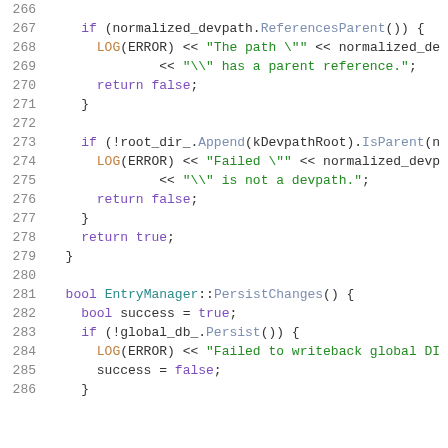Code listing lines 266-286, C++ source code
266 (empty line)
267     if (normalized_devpath.ReferencesParent()) {
268       LOG(ERROR) << "The path \"" << normalized_de
269               << "\" has a parent reference.";
270       return false;
271     }
272 (empty line)
273     if (!root_dir_.Append(kDevpathRoot).IsParent(n
274       LOG(ERROR) << "Failed \"" << normalized_devp
275               << "\" is not a devpath.";
276       return false;
277     }
278     return true;
279   }
280 (empty line)
281   bool EntryManager::PersistChanges() {
282     bool success = true;
283     if (!global_db_.Persist()) {
284       LOG(ERROR) << "Failed to writeback global DI
285       success = false;
286     }